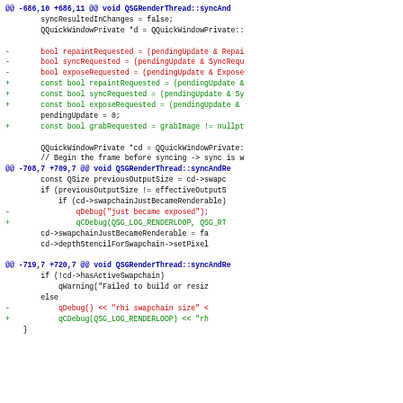Git diff code block showing changes to QSGRenderThread::syncAndRender with context lines, removed lines (red), and added lines (green), and hunk headers (blue).